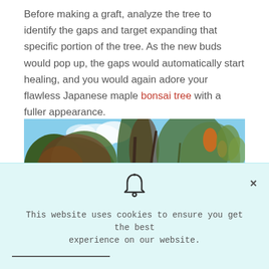Before making a graft, analyze the tree to identify the gaps and target expanding that specific portion of the tree. As the new buds would pop up, the gaps would automatically start healing, and you would again adore your flawless Japanese maple bonsai tree with a fuller appearance.
[Figure (photo): Photo of a Japanese maple bonsai tree with reddish-green leaves and new buds against a blue sky]
This website uses cookies to ensure you get the best experience on our website.